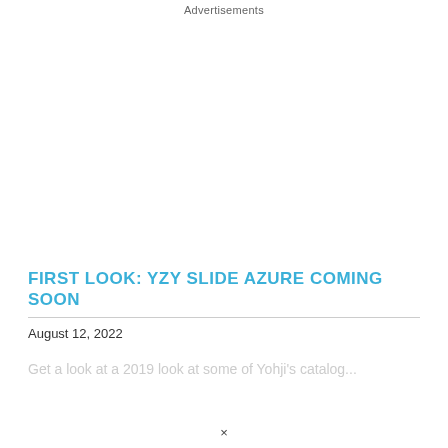Advertisements
FIRST LOOK: YZY SLIDE AZURE COMING SOON
August 12, 2022
Get a look at a 2019 look at some of Yohji's catalog...
×